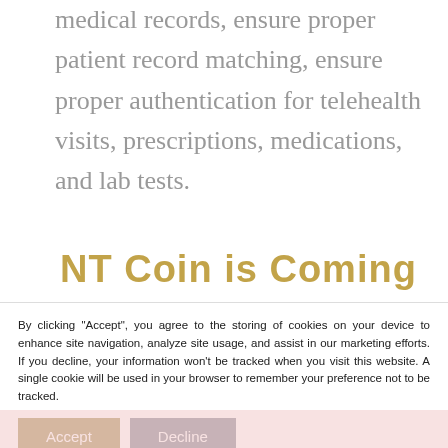medical records, ensure proper patient record matching, ensure proper authentication for telehealth visits, prescriptions, medications, and lab tests.
NT Coin is Coming
By clicking "Accept", you agree to the storing of cookies on your device to enhance site navigation, analyze site usage, and assist in our marketing efforts. If you decline, your information won't be tracked when you visit this website. A single cookie will be used in your browser to remember your preference not to be tracked.
Accept
Decline